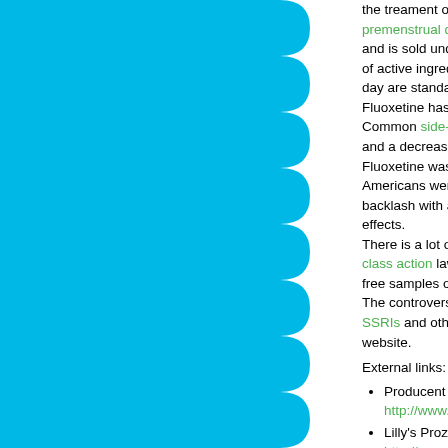the treament of depression, obsessive-compulsive, premenstrual dysphoric disorder[?]. It is one of the and is sold under the trade name Prozac® in pub of active ingredient or in tablets containing 10 mg. day are standard, with 80 mg considered a maxim Fluoxetine has a wide range of interactions, notab Common side-effects include anxiety, restlessnes and a decrease in sexual drive. Fluoxetine was introduced in the US in 1987 and Americans were prescibed the drug a year. In the backlash with accusations that the drug made use effects. There is a lot of controversy surrounding Eli Lilly a class action lawsuit has been filed recently agains free samples of Prozac Weekly in the mail. The controversial Prozac approval process descri SSRIs and other types of medication, can be foun website.
External links:
Producent of Prozac, Eli Lilly and Company: http://www.lilly.com/
Lilly's Prozac advertising website: http://www.prozac.com/
Prozac Truth, The Untold Story: http://www.prozactruth.com/